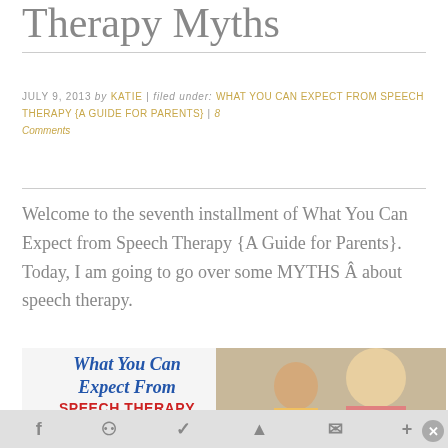Therapy Myths
JULY 9, 2013 by KATIE | filed under: WHAT YOU CAN EXPECT FROM SPEECH THERAPY {A GUIDE FOR PARENTS} | 8 Comments
Welcome to the seventh installment of What You Can Expect from Speech Therapy {A Guide for Parents}. Today, I am going to go over some MYTHS Â about speech therapy.
[Figure (illustration): Blog graphic with text 'What You Can Expect From Speech Therapy' in blue italic and red uppercase letters, alongside a photo of a child and adult.]